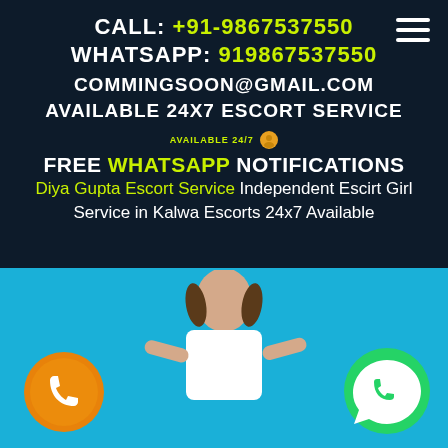CALL: +91-9867537550
WHATSAPP: 919867537550
COMMINGSOON@GMAIL.COM
AVAILABLE 24X7 ESCORT SERVICE
FREE WHATSAPP NOTIFICATIONS
Diya Gupta Escort Service Independent Escirt Girl Service in Kalwa Escorts 24x7 Available
[Figure (photo): Woman in white outfit on cyan/turquoise background with phone call icon (orange circle) on left and WhatsApp icon (green circle) on right]